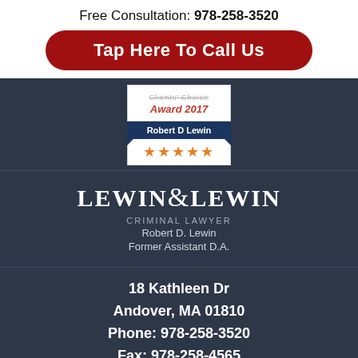Free Consultation: 978-258-3520
Tap Here To Call Us
[Figure (illustration): Clients' Choice Award 2017 badge for Robert D Lewin with five gold stars]
[Figure (logo): Lewin & Lewin Criminal Lawyer logo — Robert D. Lewin, Former Assistant D.A.]
18 Kathleen Dr
Andover, MA 01810
Phone: 978-258-3520
Fax: 978-258-4565
E-mail Us
Map & Directions